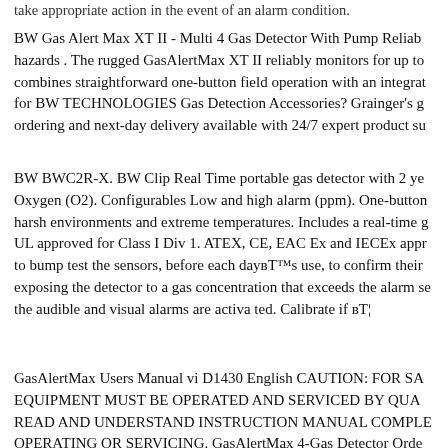take appropriate action in the event of an alarm condition.
BW Gas Alert Max XT II - Multi 4 Gas Detector With Pump Reliab hazards . The rugged GasAlertMax XT II reliably monitors for up to combines straightforward one-button field operation with an integrat for BW TECHNOLOGIES Gas Detection Accessories? Grainger's g ordering and next-day delivery available with 24/7 expert product su
BW BWC2R-X. BW Clip Real Time portable gas detector with 2 ye Oxygen (O2). Configurables Low and high alarm (ppm). One-button harsh environments and extreme temperatures. Includes a real-time g UL approved for Class I Div 1. ATEX, CE, EAC Ex and IECEx appr to bump test the sensors, before each dayвЂ™s use, to confirm their exposing the detector to a gas concentration that exceeds the alarm se the audible and visual alarms are activa ted. Calibrate if вЂ¦
GasAlertMax Users Manual vi D1430 English CAUTION: FOR SA EQUIPMENT MUST BE OPERATED AND SERVICED BY QUA READ AND UNDERSTAND INSTRUCTION MANUAL COMPLE OPERATING OR SERVICING. GasAlertMax 4-Gas Detector Orde